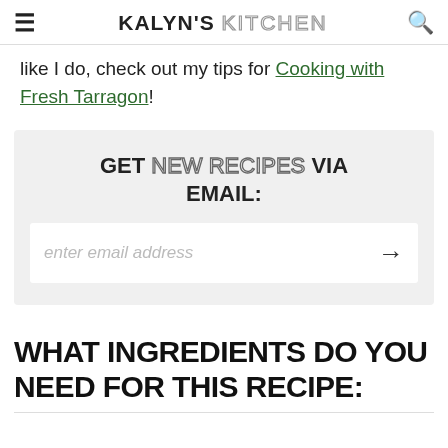KALYN'S KITCHEN
like I do, check out my tips for Cooking with Fresh Tarragon!
[Figure (infographic): Email signup box with heading 'GET NEW RECIPES VIA EMAIL:' and an email input field with arrow button]
WHAT INGREDIENTS DO YOU NEED FOR THIS RECIPE: